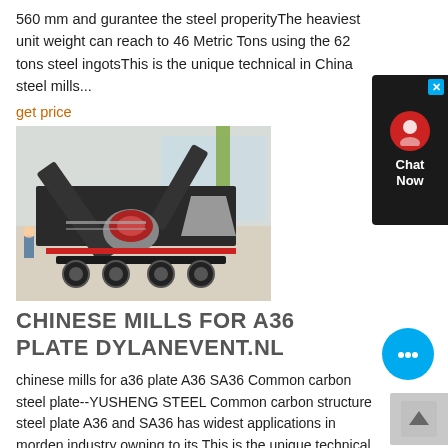560 mm and gurantee the steel properityThe heaviest unit weight can reach to 46 Metric Tons using the 62 tons steel ingotsThis is the unique technical in China steel mills...
get price
[Figure (photo): Industrial mobile crushing/processing machine on a trailer, photographed indoors in a warehouse setting.]
CHINESE MILLS FOR A36 PLATE DYLANEVENT.NL
chinese mills for a36 plate A36 SA36 Common carbon steel plate--YUSHENG STEEL Common carbon structure steel plate A36 and SA36 has widest applications in morden industry owning to its This is the unique technical in China steel mills Get Price.. ASTM A36 Carbon Structural Steel Plate Specification